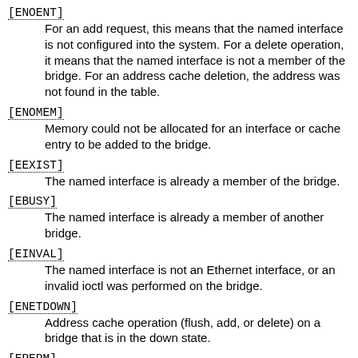[ENOENT]
For an add request, this means that the named interface is not configured into the system. For a delete operation, it means that the named interface is not a member of the bridge. For an address cache deletion, the address was not found in the table.
[ENOMEM]
Memory could not be allocated for an interface or cache entry to be added to the bridge.
[EEXIST]
The named interface is already a member of the bridge.
[EBUSY]
The named interface is already a member of another bridge.
[EINVAL]
The named interface is not an Ethernet interface, or an invalid ioctl was performed on the bridge.
[ENETDOWN]
Address cache operation (flush, add, or delete) on a bridge that is in the down state.
[EPERM]